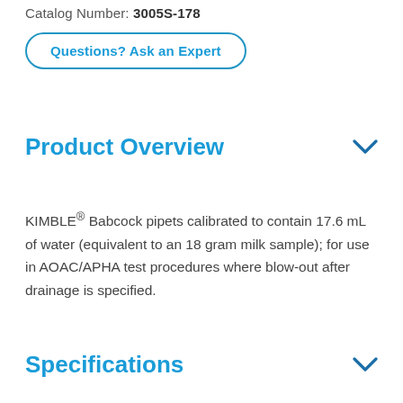Catalog Number: 3005S-178
Questions? Ask an Expert
Product Overview
KIMBLE® Babcock pipets calibrated to contain 17.6 mL of water (equivalent to an 18 gram milk sample); for use in AOAC/APHA test procedures where blow-out after drainage is specified.
Specifications